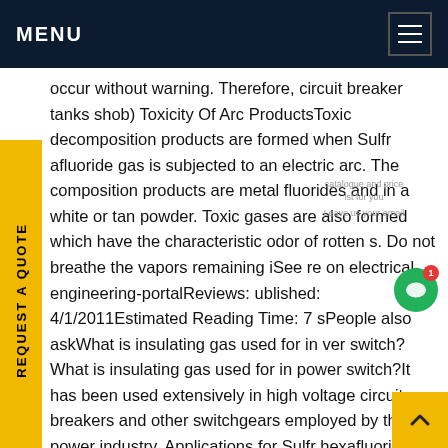MENU
occur without warning. Therefore, circuit breaker tanks shob) Toxicity Of Arc ProductsToxic decomposition products are formed when Sulfr afluoride gas is subjected to an electric arc. The composition products are metal fluorides and in a white or tan powder. Toxic gases are also formed which have the characteristic odor of rotten s. Do not breathe the vapors remaining iSee re on electrical-engineering-portalReviews: ublished: 4/1/2011Estimated Reading Time: 7 sPeople also askWhat is insulating gas used for in ver switch?What is insulating gas used for in power switch?It has been used extensively in high voltage circuit breakers and other switchgears employed by the power industry. Applications for Sulfr hexafluoride include gas insulated transmission